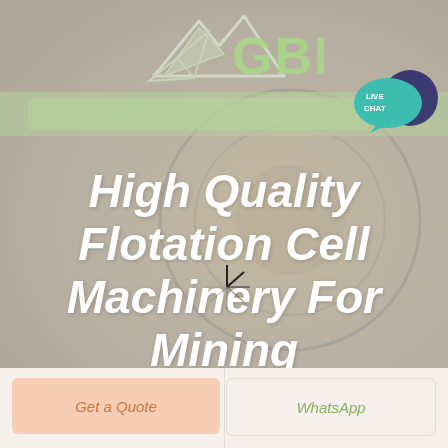[Figure (logo): GBM company logo with mountain/paper plane graphic and green GBM text]
[Figure (screenshot): Live Chat button bubble in teal/dark blue colors in top right corner]
High Quality Flotation Cell Machinery For Mining
[Figure (other): Loading spinner icon overlaid on the hero title text]
Get a Quote
WhatsApp